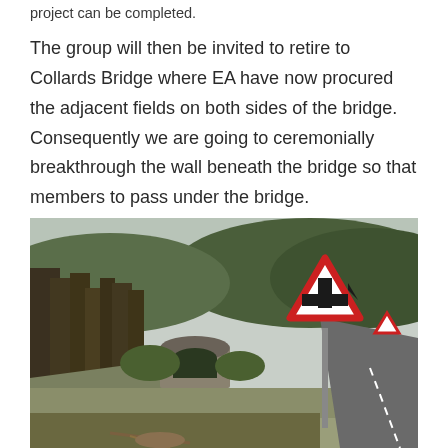project can be completed.
The group will then be invited to retire to Collards Bridge where EA have now procured the adjacent fields on both sides of the bridge. Consequently we are going to ceremonially breakthrough the wall beneath the bridge so that members to pass under the bridge.
[Figure (photo): Outdoor rural scene showing a stone bridge arch with overgrown vegetation and a road to the right with a red and white triangular warning road sign showing a junction/crossroads symbol. Background shows wooded hillsides.]